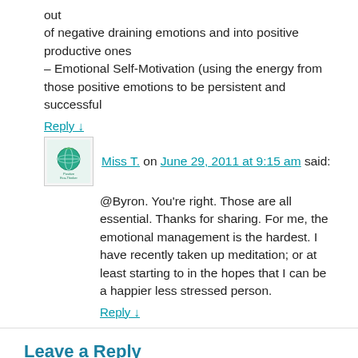out of negative draining emotions and into positive productive ones – Emotional Self-Motivation (using the energy from those positive emotions to be persistent and successful
Reply ↓
Miss T. on June 29, 2011 at 9:15 am said:
@Byron. You're right. Those are all essential. Thanks for sharing. For me, the emotional management is the hardest. I have recently taken up meditation; or at least starting to in the hopes that I can be a happier less stressed person.
Reply ↓
Leave a Reply
Your email address will not be published. Required fields are marked *